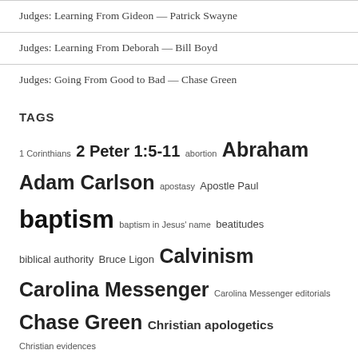Judges: Learning From Gideon — Patrick Swayne
Judges: Learning From Deborah — Bill Boyd
Judges: Going From Good to Bad — Chase Green
TAGS
1 Corinthians 2 Peter 1:5-11 abortion Abraham Adam Carlson apostasy Apostle Paul baptism baptism in Jesus' name beatitudes biblical authority Bruce Ligon Calvinism Carolina Messenger Carolina Messenger editorials Chase Green Christian apologetics Christian evidences Christianity Christians Christian women church church attendance church discipline church growth Church of Christ conversions in Acts Cougan Collins David David Bragg David R. Pharr David W. Hester deacons debate recaps Dewayne